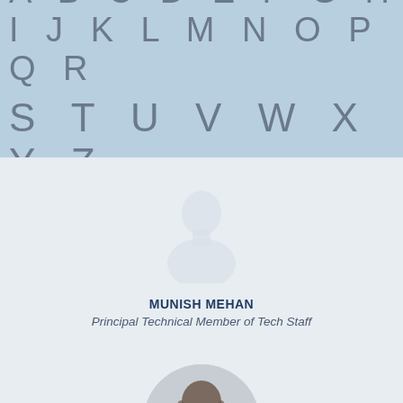A B C D E F G H I J K L M N O P Q R
S T U V W X Y Z
[Figure (illustration): Generic placeholder avatar icon showing a silhouette of a person (head and shoulders), light blue/gray tones on a light gray background]
MUNISH MEHAN
Principal Technical Member of Tech Staff
[Figure (photo): Circular cropped photo of a man wearing glasses and a dark shirt, light background]